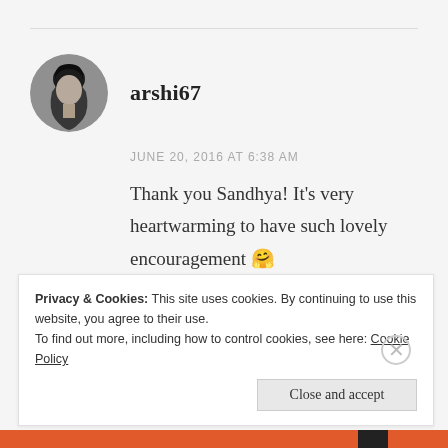[Figure (photo): Black and white circular avatar photo of a man's profile/side face]
arshi67
JUNE 20, 2016 AT 6:38 AM
Thank you Sandhya! It’s very heartwarming to have such lovely encouragement 🤗
★ Like
Privacy & Cookies: This site uses cookies. By continuing to use this website, you agree to their use.
To find out more, including how to control cookies, see here: Cookie Policy
Close and accept